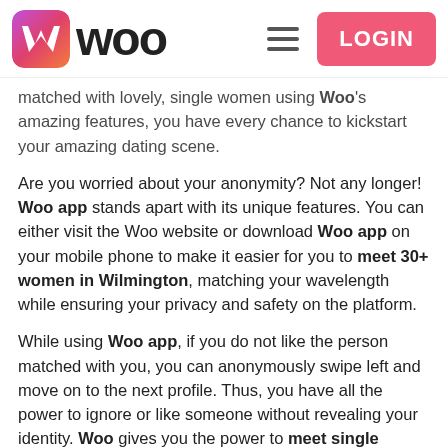Woo — LOGIN
matched with lovely, single women using Woo's amazing features, you have every chance to kickstart your amazing dating scene.
Are you worried about your anonymity? Not any longer! Woo app stands apart with its unique features. You can either visit the Woo website or download Woo app on your mobile phone to make it easier for you to meet 30+ women in Wilmington, matching your wavelength while ensuring your privacy and safety on the platform.
While using Woo app, if you do not like the person matched with you, you can anonymously swipe left and move on to the next profile. Thus, you have all the power to ignore or like someone without revealing your identity. Woo gives you the power to meet single women in Wilmington and cherry-pick the partner of your choices and interests.